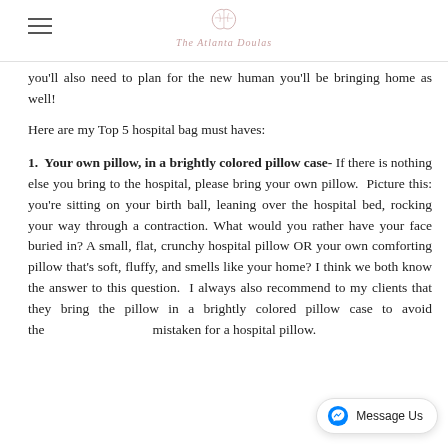The Atlanta Doulas
you'll also need to plan for the new human you'll be bringing home as well!
Here are my Top 5 hospital bag must haves:
1. Your own pillow, in a brightly colored pillow case- If there is nothing else you bring to the hospital, please bring your own pillow. Picture this: you're sitting on your birth ball, leaning over the hospital bed, rocking your way through a contraction. What would you rather have your face buried in? A small, flat, crunchy hospital pillow OR your own comforting pillow that's soft, fluffy, and smells like your home? I think we both know the answer to this question. I always also recommend to my clients that they bring the pillow in a brightly colored pillow case to avoid the being mistaken for a hospital pillow.